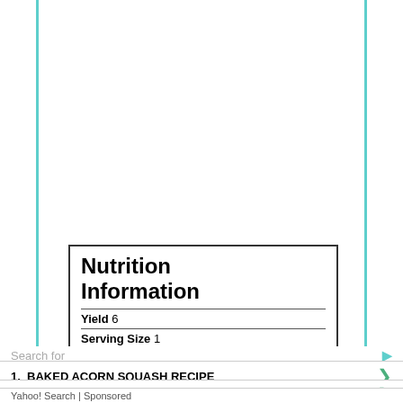Nutrition Information
Yield 6
Serving Size 1
Amount Per Serving
Calories 243
Search for
1. BAKED ACORN SQUASH RECIPE
2. SPAGHETTI SQUASH RECIPES
Yahoo! Search | Sponsored